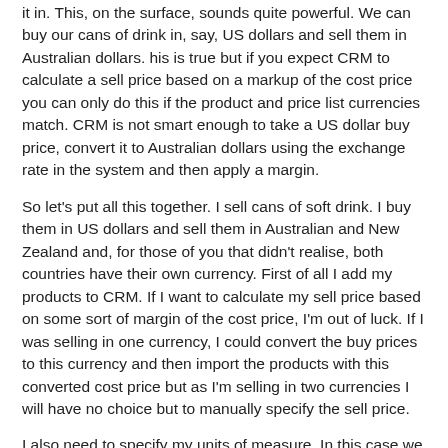it in. This, on the surface, sounds quite powerful. We can buy our cans of drink in, say, US dollars and sell them in Australian dollars. his is true but if you expect CRM to calculate a sell price based on a markup of the cost price you can only do this if the product and price list currencies match. CRM is not smart enough to take a US dollar buy price, convert it to Australian dollars using the exchange rate in the system and then apply a margin.
So let's put all this together. I sell cans of soft drink. I buy them in US dollars and sell them in Australian and New Zealand and, for those of you that didn't realise, both countries have their own currency. First of all I add my products to CRM. If I want to calculate my sell price based on some sort of margin of the cost price, I'm out of luck. If I was selling in one currency, I could convert the buy prices to this currency and then import the products with this converted cost price but as I'm selling in two currencies I will have no choice but to manually specify the sell price.
I also need to specify my units of measure. In this case we will say cans, six-packs and pallets.